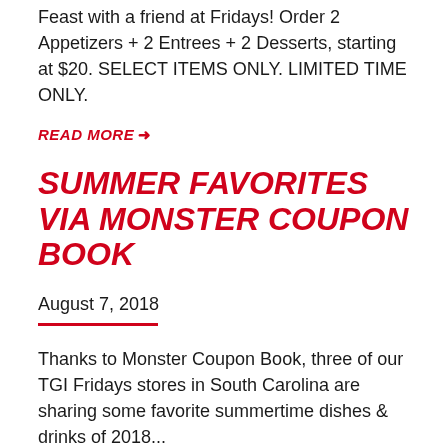Feast with a friend at Fridays! Order 2 Appetizers + 2 Entrees + 2 Desserts, starting at $20. SELECT ITEMS ONLY. LIMITED TIME ONLY.
READ MORE →
SUMMER FAVORITES VIA MONSTER COUPON BOOK
August 7, 2018
Thanks to Monster Coupon Book, three of our TGI Fridays stores in South Carolina are sharing some favorite summertime dishes & drinks of 2018...
READ MORE →